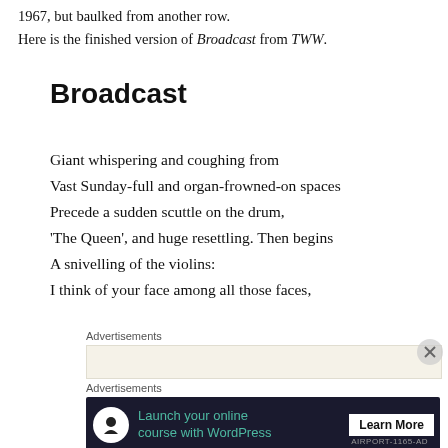1967, but baulked from another row.
Here is the finished version of Broadcast from TWW.
Broadcast
Giant whispering and coughing from
Vast Sunday-full and organ-frowned-on spaces
Precede a sudden scuttle on the drum,
'The Queen', and huge resettling. Then begins
A snivelling of the violins:
I think of your face among all those faces,
Advertisements
[Figure (other): Beige/cream colored advertisement placeholder box]
Advertisements
[Figure (other): Dark navy advertisement banner: 'Launch your online course with WordPress' with Learn More button and tree/person icon]